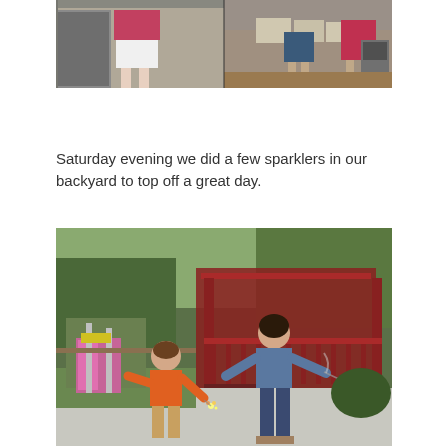[Figure (photo): Photo of people standing indoors near a fireplace or kitchen area, collage of two images side by side. A woman in a pink top and white shorts on the left, and two people standing near boxes on the right.]
Saturday evening we did a few sparklers in our backyard to top off a great day.
[Figure (photo): Photo of a boy in an orange shirt and khaki shorts holding a sparkler, and a woman in a blue shirt and jeans holding a sparkler in a backyard with a red gazebo and playground equipment in the background.]